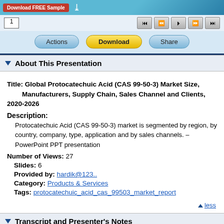[Figure (screenshot): Slide preview area with teal/blue background and Download FREE Sample button]
[Figure (screenshot): Media player controls with page input box and navigation buttons (skip back, back, play, forward, skip forward)]
[Figure (screenshot): Action buttons row: Actions, Download, Share]
About This Presentation
Title: Global Protocatechuic Acid (CAS 99-50-3) Market Size, Manufacturers, Supply Chain, Sales Channel and Clients, 2020-2026
Description:
Protocatechuic Acid (CAS 99-50-3) market is segmented by region, by country, company, type, application and by sales channels. – PowerPoint PPT presentation
Number of Views: 27
Slides: 6
Provided by: hardik@123..
Category: Products & Services
Tags: protocatechuic_acid_cas_99503_market_report
▲ less
Transcript and Presenter's Notes